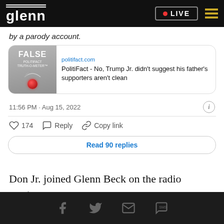glenn · LIVE
by a parody account.
[Figure (screenshot): PolitiFact Truth-O-Meter FALSE rating card showing a gauge image with a red dot, labeled FALSE. Link to politifact.com article: 'PolitiFact - No, Trump Jr. didn't suggest his father's supporters aren't clean']
11:56 PM · Aug 15, 2022
174   Reply   Copy link
Read 90 replies
Don Jr. joined Glenn Beck on the radio program
Social share icons: Facebook, Twitter, Email, SMS